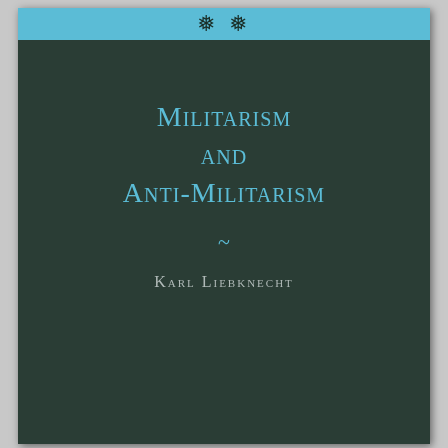[Figure (illustration): Book cover with dark green background, light blue top band with decorative floral/snowflake ornament, title text in blue small-caps, author name in gray small-caps]
Militarism and Anti-Militarism
~
Karl Liebknecht